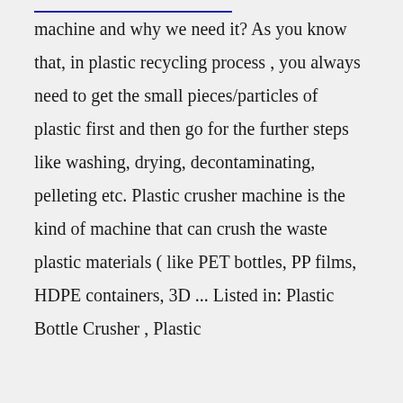machine and why we need it? As you know that, in plastic recycling process , you always need to get the small pieces/particles of plastic first and then go for the further steps like washing, drying, decontaminating, pelleting etc. Plastic crusher machine is the kind of machine that can crush the waste plastic materials ( like PET bottles, PP films, HDPE containers, 3D ... Listed in: Plastic Bottle Crusher , Plastic